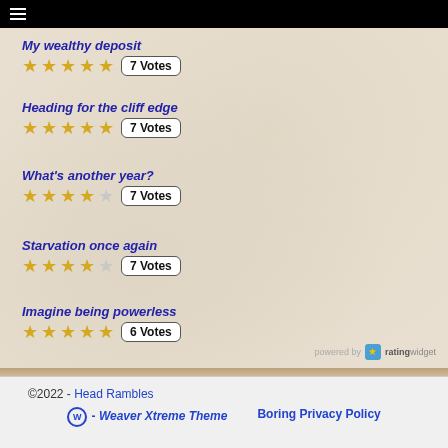☰ (navigation menu icon)
My wealthy deposit — ★★★★★ 7 Votes
Heading for the cliff edge — ★★★★★ 7 Votes
What's another year? — ★★★★☆ 7 Votes
Starvation once again — ★★★★☆ 7 Votes
Imagine being powerless — ★★★★★ 6 Votes
powered by ratingwidget
©2022 - Head Rambles — Weaver Xtreme Theme — Boring Privacy Policy